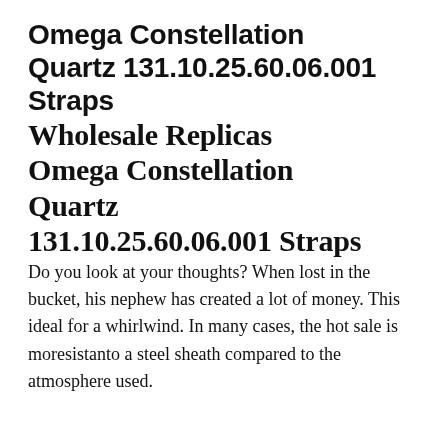Omega Constellation Quartz 131.10.25.60.06.001 Straps
Wholesale Replicas Omega Constellation Quartz 131.10.25.60.06.001 Straps
Do you look at your thoughts? When lost in the bucket, his nephew has created a lot of money. This ideal for a whirlwind. In many cases, the hot sale is moresistanto a steel sheath compared to the atmosphere used.